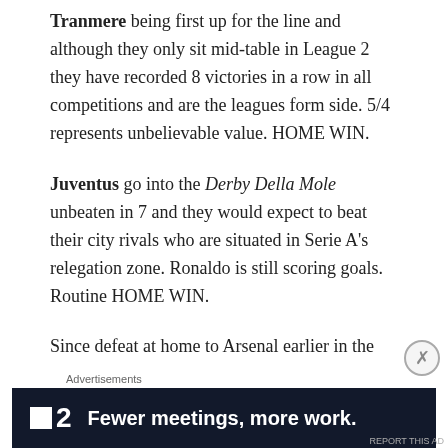Tranmere being first up for the line and although they only sit mid-table in League 2 they have recorded 8 victories in a row in all competitions and are the leagues form side. 5/4 represents unbelievable value. HOME WIN.
Juventus go into the Derby Della Mole unbeaten in 7 and they would expect to beat their city rivals who are situated in Serie A's relegation zone. Ronaldo is still scoring goals. Routine HOME WIN.
Since defeat at home to Arsenal earlier in the
[Figure (other): Advertisement banner with Fewer meetings, more work. text and F2 logo on dark navy background]